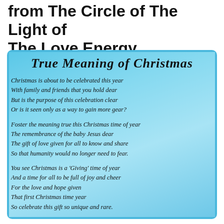from The Circle of The Light of The Love Energy
[Figure (illustration): Blue torn-paper style box containing the poem 'True Meaning of Christmas' with decorative script title and italic poem text on a blue gradient background]
True Meaning of Christmas

Christmas is about to be celebrated this year
With family and friends that you hold dear
But is the purpose of this celebration clear
Or is it seen only as a way to gain more gear?

Foster the meaning true this Christmas time of year
The remembrance of the baby Jesus dear
The gift of love given for all to know and share
So that humanity would no longer need to fear.

You see Christmas is a 'Giving' time of year
And a time for all to be full of joy and cheer
For the love and hope given
That first Christmas time year
So celebrate this gift so unique and rare.

Spare no cost this Christmas time of year